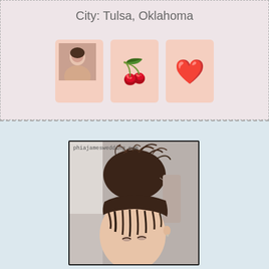City: Tulsa, Oklahoma
[Figure (other): Three peach-colored cards: first card contains a thumbnail photo of a woman, second card shows a cherries emoji, third card shows a red heart emoji]
[Figure (photo): Close-up photo of a woman with dark hair in a messy bun, watermark text 'phiajameswedding.com' in upper left corner]